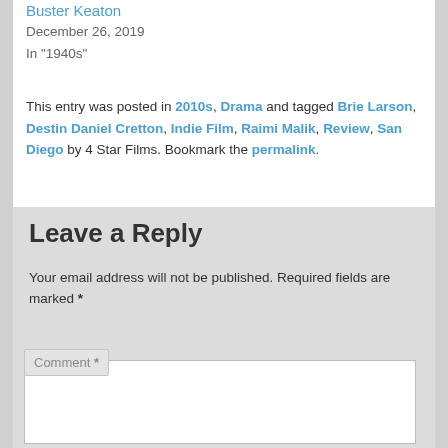Buster Keaton
December 26, 2019
In "1940s"
This entry was posted in 2010s, Drama and tagged Brie Larson, Destin Daniel Cretton, Indie Film, Raimi Malik, Review, San Diego by 4 Star Films. Bookmark the permalink.
Leave a Reply
Your email address will not be published. Required fields are marked *